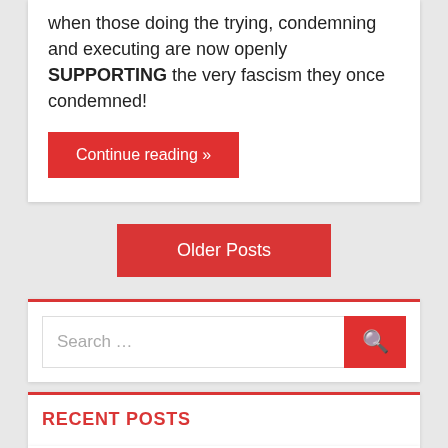when those doing the trying, condemning and executing are now openly SUPPORTING the very fascism they once condemned!
Continue reading »
Older Posts
Search …
RECENT POSTS
Global COVID-19 Cases Surpass 600 million